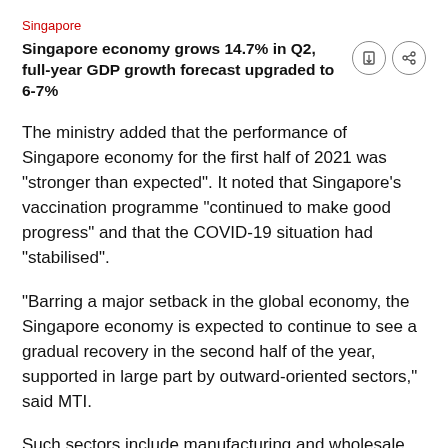Singapore
Singapore economy grows 14.7% in Q2, full-year GDP growth forecast upgraded to 6-7%
The ministry added that the performance of Singapore economy for the first half of 2021 was "stronger than expected". It noted that Singapore's vaccination programme "continued to make good progress" and that the COVID-19 situation had "stabilised".
"Barring a major setback in the global economy, the Singapore economy is expected to continue to see a gradual recovery in the second half of the year, supported in large part by outward-oriented sectors," said MTI.
Such sectors include manufacturing and wholesale